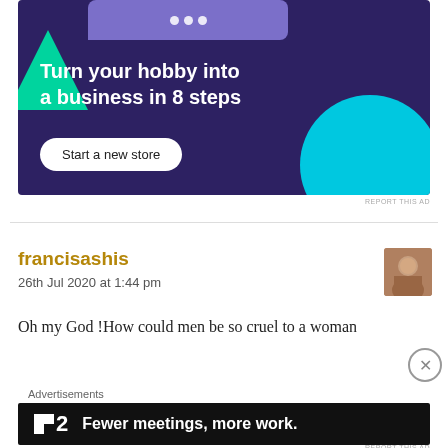[Figure (screenshot): Advertisement banner with dark purple background, green triangle, teal circle. Text: 'Turn your hobby into a business in 8 steps' with a 'Start a new store' button.]
REPORT THIS AD
francisashis
26th Jul 2020 at 1:44 pm
Oh my God !How could men be so cruel to a woman
Advertisements
[Figure (screenshot): Dark advertisement banner. Logo showing a square icon with '2'. Text: 'Fewer meetings, more work.']
REPORT THIS AD